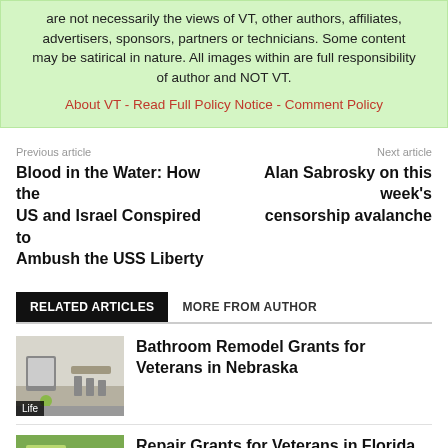are not necessarily the views of VT, other authors, affiliates, advertisers, sponsors, partners or technicians. Some content may be satirical in nature. All images within are full responsibility of author and NOT VT.
About VT - Read Full Policy Notice - Comment Policy
Previous article
Blood in the Water: How the US and Israel Conspired to Ambush the USS Liberty
Next article
Alan Sabrosky on this week's censorship avalanche
RELATED ARTICLES   MORE FROM AUTHOR
Bathroom Remodel Grants for Veterans in Nebraska
Life
Repair Grants for Veterans in Florida